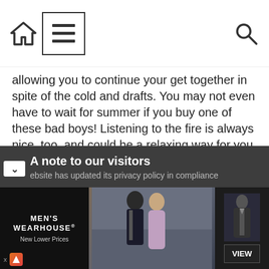[Navigation bar with home icon, menu icon, search icon]
allowing you to continue your get together in spite of the cold and drafts. You may not even have to wait for summer if you buy one of these bad boys! Listening to the fire is always nice, too, and could be a relaxing way for you to enjoy your garden when you don't have any guests.
What will you do for your next big barbecue? Leave your thoughts and ideas below!
A note to our visitors
ebsite has updated its privacy policy in compliance
[Figure (photo): Advertisement for Men's Wearhouse showing a couple in formal wear and a man in a suit with a VIEW button]